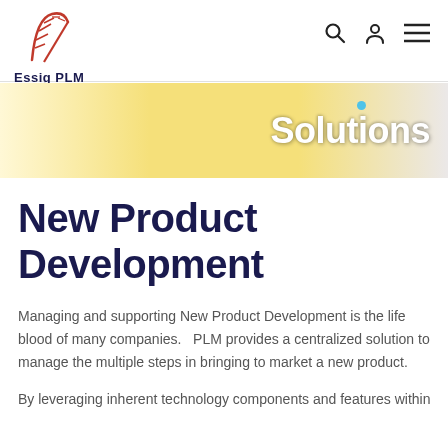Essig PLM
Solutions
New Product Development
Managing and supporting New Product Development is the life blood of many companies.   PLM provides a centralized solution to manage the multiple steps in bringing to market a new product.
By leveraging inherent technology components and features within